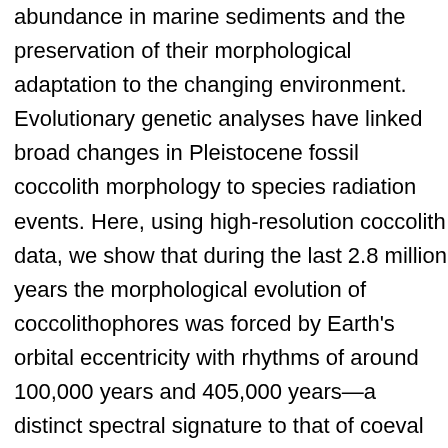abundance in marine sediments and the preservation of their morphological adaptation to the changing environment. Evolutionary genetic analyses have linked broad changes in Pleistocene fossil coccolith morphology to species radiation events. Here, using high-resolution coccolith data, we show that during the last 2.8 million years the morphological evolution of coccolithophores was forced by Earth's orbital eccentricity with rhythms of around 100,000 years and 405,000 years—a distinct spectral signature to that of coeval global climate cycles. Simulations with an Earth System Model coupled with an ocean biogeochemical model show a strong eccentricity modulation of the seasonal cycle, which we suggest directly affects the diversity of ecological niches that occur over the annual cycle in the tropical ocean. Reduced